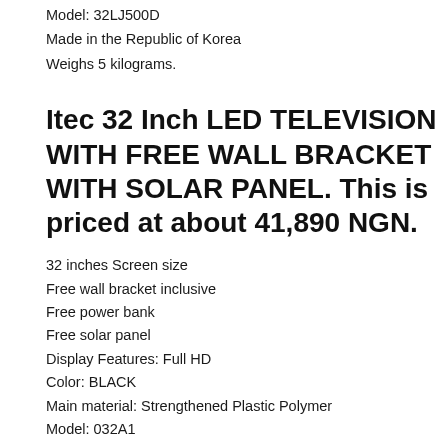Model: 32LJ500D
Made in the Republic of Korea
Weighs 5 kilograms.
Itec 32 Inch LED TELEVISION WITH FREE WALL BRACKET WITH SOLAR PANEL. This is priced at about 41,890 NGN.
32 inches Screen size
Free wall bracket inclusive
Free power bank
Free solar panel
Display Features: Full HD
Color: BLACK
Main material: Strengthened Plastic Polymer
Model: 032A1